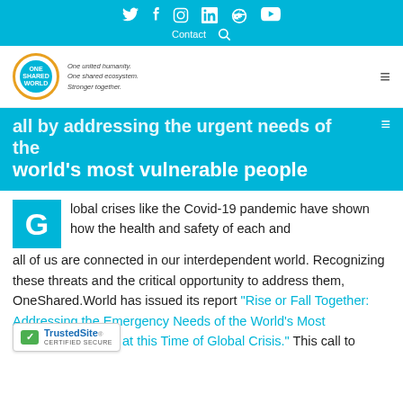Social icons: Twitter, Facebook, Instagram, LinkedIn, Reddit, YouTube | Contact | Search
[Figure (logo): OneSharedWorld logo — circular badge with orange border and blue center, with tagline: One united humanity. One shared ecosystem. Stronger together.]
all by addressing the urgent needs of the world's most vulnerable people
Global crises like the Covid-19 pandemic have shown how the health and safety of each and all of us are connected in our interdependent world. Recognizing these threats and the critical opportunity to address them, OneShared.World has issued its report "Rise or Fall Together: Addressing the Emergency Needs of the World's Most Vulnerable People at this Time of Global Crisis." This call to
[Figure (logo): TrustedSite CERTIFIED SECURE badge]